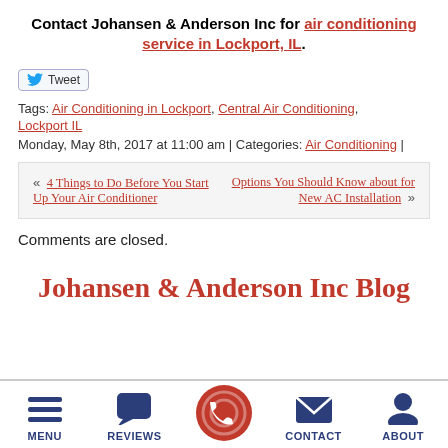Contact Johansen & Anderson Inc for air conditioning service in Lockport, IL.
[Figure (other): Tweet button with Twitter bird icon]
Tags: Air Conditioning in Lockport, Central Air Conditioning, Lockport IL
Monday, May 8th, 2017 at 11:00 am | Categories: Air Conditioning |
« 4 Things to Do Before You Start Up Your Air Conditioner   Options You Should Know about for New AC Installation »
Comments are closed.
Johansen & Anderson Inc Blog
[Figure (other): Bottom navigation bar with icons: MENU (hamburger), REVIEWS (chat bubble), phone (red circle with phone icon), CONTACT (envelope), ABOUT (person icon)]